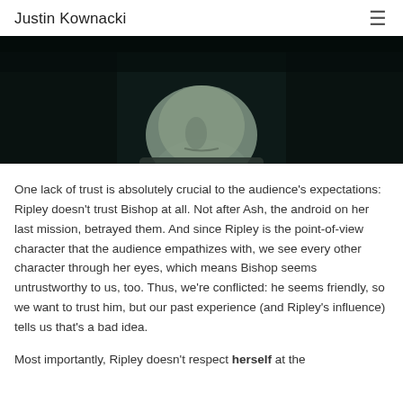Justin Kownacki
[Figure (photo): Close-up dark cinematic still of a humanoid face (android/alien) with pale greenish skin and closed or partially open eyes, from a film scene.]
One lack of trust is absolutely crucial to the audience's expectations: Ripley doesn't trust Bishop at all. Not after Ash, the android on her last mission, betrayed them. And since Ripley is the point-of-view character that the audience empathizes with, we see every other character through her eyes, which means Bishop seems untrustworthy to us, too. Thus, we're conflicted: he seems friendly, so we want to trust him, but our past experience (and Ripley's influence) tells us that's a bad idea.
Most importantly, Ripley doesn't respect herself at the